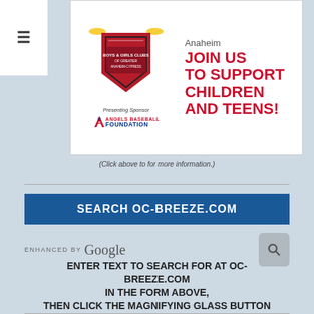[Figure (illustration): Boys & Girls Clubs of Greater Anaheim-Cypress advertisement with Angels Baseball Foundation logo, showing 'JOIN US TO SUPPORT CHILDREN AND TEENS!' in red text on white background]
(Click above to for more information.)
SEARCH OC-BREEZE.COM
[Figure (screenshot): Enhanced by Google search input field with magnifying glass button]
ENTER TEXT TO SEARCH FOR AT OC-BREEZE.COM
IN THE FORM ABOVE,
THEN CLICK THE MAGNIFYING GLASS BUTTON